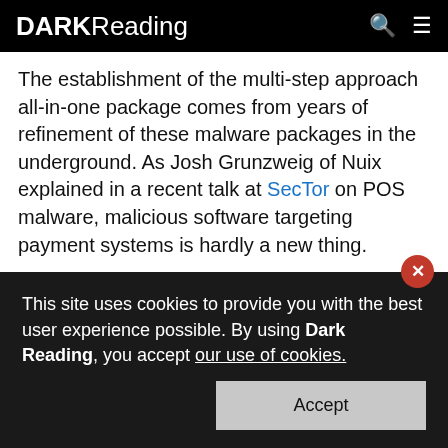DARK Reading
The establishment of the multi-step approach all-in-one package comes from years of refinement of these malware packages in the underground. As Josh Grunzweig of Nuix explained in a recent talk at SecTor on POS malware, malicious software targeting payment systems is hardly a new thing.
"This past year alone you can't go more than a week without hearing some story in the news of some company with tens of millions of cards stolen. And it's
This site uses cookies to provide you with the best user experience possible. By using Dark Reading, you accept our use of cookies.
Accept